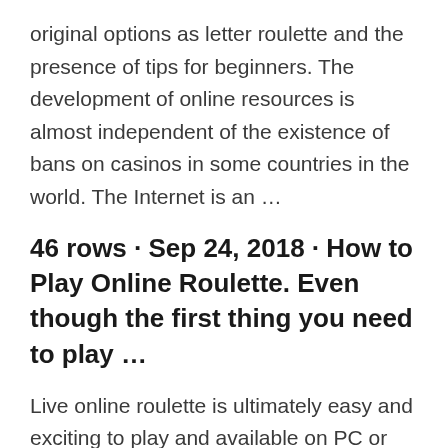original options as letter roulette and the presence of tips for beginners. The development of online resources is almost independent of the existence of bans on casinos in some countries in the world. The Internet is an …
46 rows · Sep 24, 2018 · How to Play Online Roulette. Even though the first thing you need to play …
Live online roulette is ultimately easy and exciting to play and available on PC or Mac or as mobile roulette editions. Those, who used to play an ordinary online roulette, will easily figure out how to play the live one. Free American Roulette Online - Play for FUN! American Roulette is a variation of one of the most